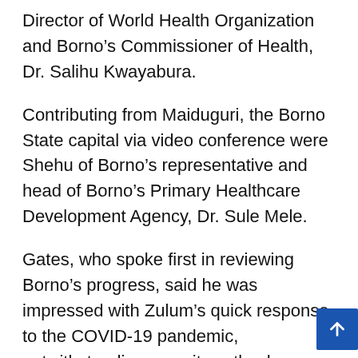Director of World Health Organization and Borno’s Commissioner of Health, Dr. Salihu Kwayabura.
Contributing from Maiduguri, the Borno State capital via video conference were Shehu of Borno’s representative and head of Borno’s Primary Healthcare Development Agency, Dr. Sule Mele.
Gates, who spoke first in reviewing Borno’s progress, said he was impressed with Zulum’s quick response to the COVID-19 pandemic, notwithstanding security setbacks, which prevented what could have been a major impact in a State with IDP camps.